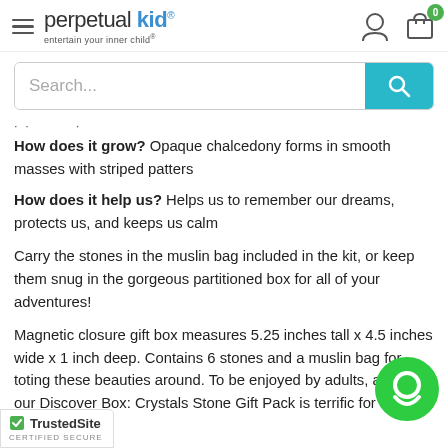perpetual kid® — entertain your inner child®
How does it grow? Opaque chalcedony forms in smooth masses with striped patters
How does it help us? Helps us to remember our dreams, protects us, and keeps us calm
Carry the stones in the muslin bag included in the kit, or keep them snug in the gorgeous partitioned box for all of your adventures!
Magnetic closure gift box measures 5.25 inches tall x 4.5 inches wide x 1 inch deep. Contains 6 stones and a muslin bag for toting these beauties around. To be enjoyed by adults, and kids our Discover Box: Crystals Stone Gift Pack is terrific for ages up!
TrustedSite CERTIFIED SECURE